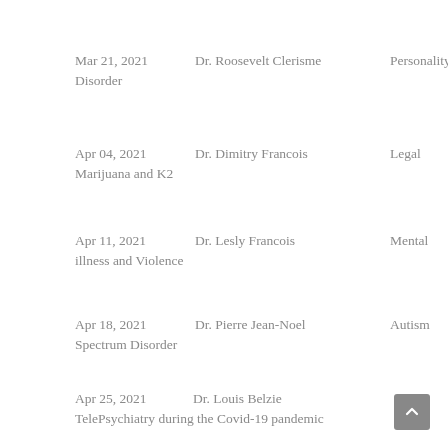Mar 21, 2021    Dr. Roosevelt Clerisme    Personality Disorder
Apr 04, 2021    Dr. Dimitry Francois    Legal Marijuana and K2
Apr 11, 2021    Dr. Lesly Francois    Mental illness and Violence
Apr 18, 2021    Dr. Pierre Jean-Noel    Autism Spectrum Disorder
Apr  25, 2021    Dr. Louis Belzie    TelePsychiatry during the Covid-19 pandemic
May 02, 2021    Dr. Guitel St-Victor    Women illness and mental health